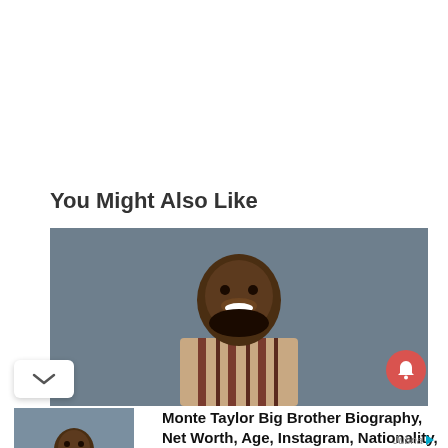You Might Also Like
[Figure (photo): Large hero photo of Monte Taylor, a smiling man with beard wearing a striped shirt, against a grey-blue background]
[Figure (photo): Thumbnail photo of Monte Taylor smiling, wearing a striped shirt against grey-blue background]
Monte Taylor Big Brother Biography, Net Worth, Age, Instagram, Nationality, Wife, Height, Wiki
ngnews247.com
Jubna